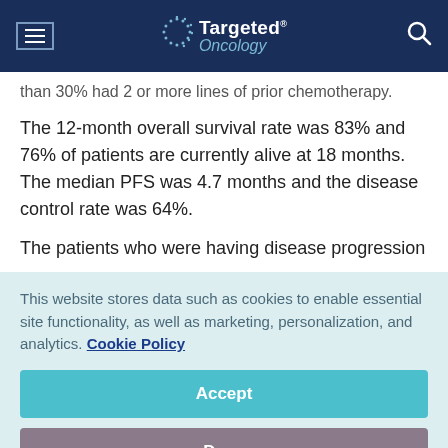Targeted Oncology
than 30% had 2 or more lines of prior chemotherapy.
The 12-month overall survival rate was 83% and 76% of patients are currently alive at 18 months. The median PFS was 4.7 months and the disease control rate was 64%.
The patients who were having disease progression
This website stores data such as cookies to enable essential site functionality, as well as marketing, personalization, and analytics. Cookie Policy
Accept
Deny